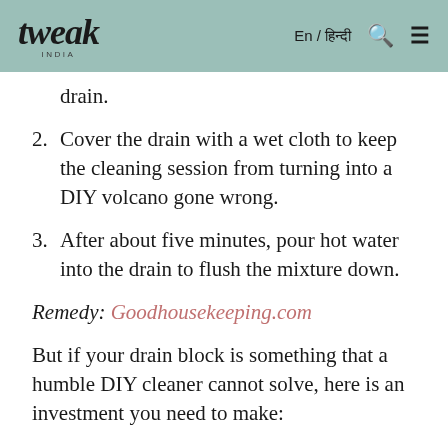tweak INDIA | En / हिन्दी
drain.
2. Cover the drain with a wet cloth to keep the cleaning session from turning into a DIY volcano gone wrong.
3. After about five minutes, pour hot water into the drain to flush the mixture down.
Remedy: Goodhousekeeping.com
But if your drain block is something that a humble DIY cleaner cannot solve, here is an investment you need to make: